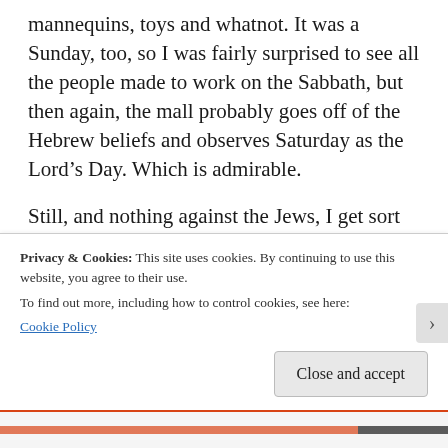mannequins, toys and whatnot. It was a Sunday, too, so I was fairly surprised to see all the people made to work on the Sabbath, but then again, the mall probably goes off of the Hebrew beliefs and observes Saturday as the Lord's Day. Which is admirable.
Still, and nothing against the Jews, I get sort of tired from seeing the 10 Commandments places plopped down in front of things, especially courthouses. You're really only not
Privacy & Cookies: This site uses cookies. By continuing to use this website, you agree to their use.
To find out more, including how to control cookies, see here:
Cookie Policy